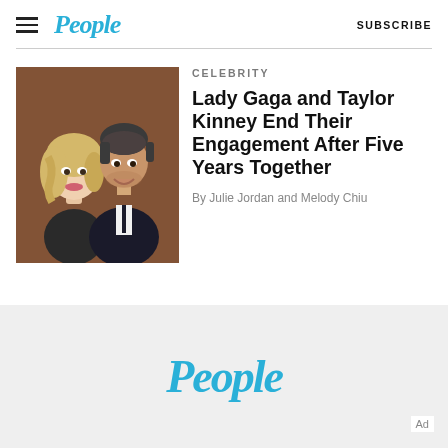People — SUBSCRIBE
[Figure (photo): Lady Gaga with blonde wavy hair and Taylor Kinney in a suit, posing together at an event]
CELEBRITY
Lady Gaga and Taylor Kinney End Their Engagement After Five Years Together
By Julie Jordan and Melody Chiu
[Figure (logo): People magazine logo in blue italic text used as advertisement]